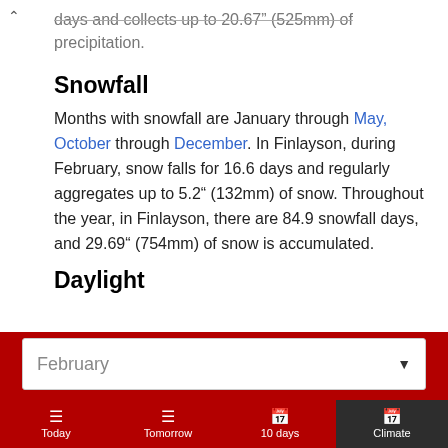…days and collects up to 20.67" (525mm) of precipitation.
Snowfall
Months with snowfall are January through May, October through December. In Finlayson, during February, snow falls for 16.6 days and regularly aggregates up to 5.2" (132mm) of snow. Throughout the year, in Finlayson, there are 84.9 snowfall days, and 29.69" (754mm) of snow is accumulated.
Daylight
February
Today
Tomorrow
10 days
Climate